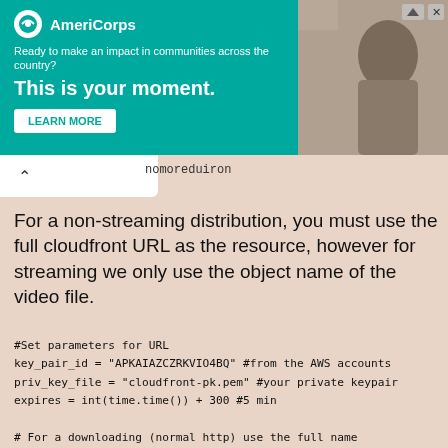[Figure (other): AmeriCorps advertisement banner with teal background. Logo, tagline 'Ready to make an impact in communities across the country?', headline 'This is your moment.', and LEARN MORE button on left. Photo of person on right.]
nomoreduiron
For a non-streaming distribution, you must use the full cloudfront URL as the resource, however for streaming we only use the object name of the video file.
#Set parameters for URL
key_pair_id = "APKAIAZCZRKVIO4BQ" #from the AWS accounts
priv_key_file = "cloudfront-pk.pem" #your private keypair
expires = int(time.time()) + 300 #5 min

# For a downloading (normal http) use the full name
http_resource = 'http://%s/video.mp4' % dist.domain_name
# Create the signed URL
http_signed_url = dist.create_signed_url(http_resource, k

# For a streaming (rtmp) distribution use just the base f
stream_resource = "video"
# Create the signed URL
stream_signed_url = stream_dist.create_signed_url(stream_